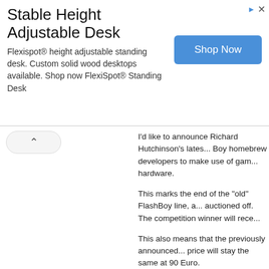[Figure (other): Advertisement banner for Flexispot height adjustable standing desk with Shop Now button and ad icons]
I'd like to announce Richard Hutchinson's latest... Boy homebrew developers to make use of gam... hardware.
This marks the end of the "old" FlashBoy line, a... auctioned off. The competition winner will rece...
This also means that the previously announced... price will stay the same at 90 Euro.
Everyone who did not have luck this time shou...
To read more of the post and Download, cli...
Join In and Discuss Here
Submit News and Releases Here and Contact...
Harvest Moon: Grand Baza...
August 23rd, 2010, 18:32 Posted By: wraggst...
Newly released today